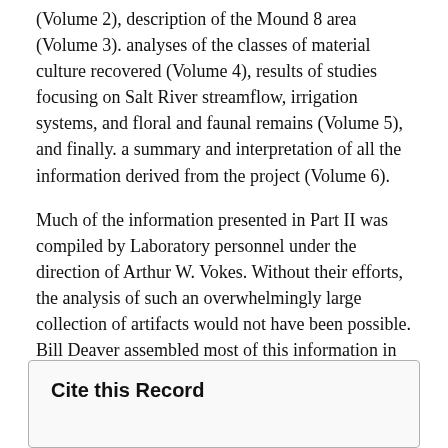(Volume 2), description of the Mound 8 area (Volume 3). analyses of the classes of material culture recovered (Volume 4), results of studies focusing on Salt River streamflow, irrigation systems, and floral and faunal remains (Volume 5), and finally. a summary and interpretation of all the information derived from the project (Volume 6).
Much of the information presented in Part II was compiled by Laboratory personnel under the direction of Arthur W. Vokes. Without their efforts, the analysis of such an overwhelmingly large collection of artifacts would not have been possible. Bill Deaver assembled most of this information in draft form and Barbara Murphy made it presentable. Their efforts are greatly appreciated.
Cite this Record